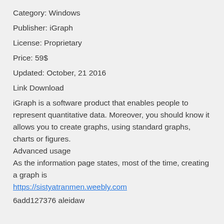Category: Windows
Publisher: iGraph
License: Proprietary
Price: 59$
Updated: October, 21 2016
Link Download
iGraph is a software product that enables people to represent quantitative data. Moreover, you should know it allows you to create graphs, using standard graphs, charts or figures.
Advanced usage
As the information page states, most of the time, creating a graph is
https://sistyatranmen.weebly.com
6add127376 aleidaw